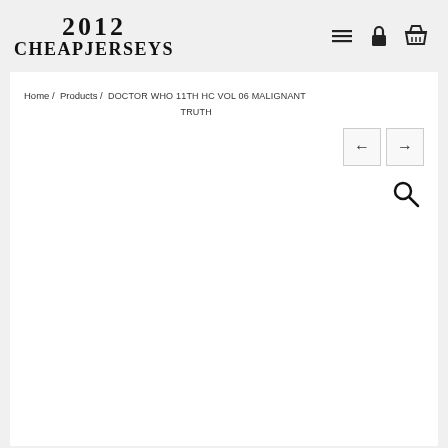2012 CHEAPJERSEYS
Home / Products / DOCTOR WHO 11TH HC VOL 06 MALIGNANT TRUTH